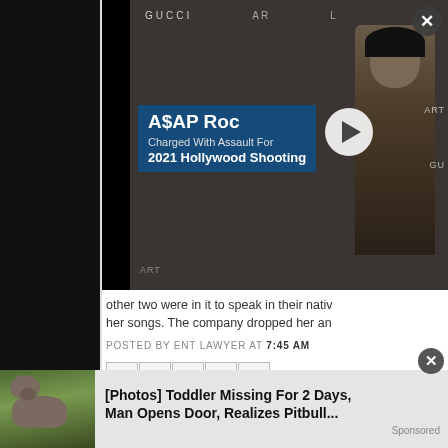[Figure (screenshot): Video thumbnail showing A$AP Rocky with overlay text caption: 'A$AP Rocky Charged With Assault For 2021 Hollywood Shooting' with play button, over a photo of a man in suit at GUCCI event]
other two were in it to speak in their nati
her songs. The company dropped her an
POSTED BY ENT LAWYER AT 7:45 AM
[Figure (screenshot): Row of social share icons: email (M), Blogger (B), Twitter (t), Facebook (f), Pinterest (p)]
LABELS: BLIND ITEM
Blind Item #4
While this B- list mostly movie actress wh television show was blissfully promoting home hooking up with the celebrity/mode time ago and lives in the limelight of ano
:30 AM
[Figure (screenshot): Advertisement banner: photo of a pig/pitbull in grass with text '[Photos] Toddler Missing For 2 Days, Man Opens Door, Realizes Pitbull...' with Sponsored label and X close button]